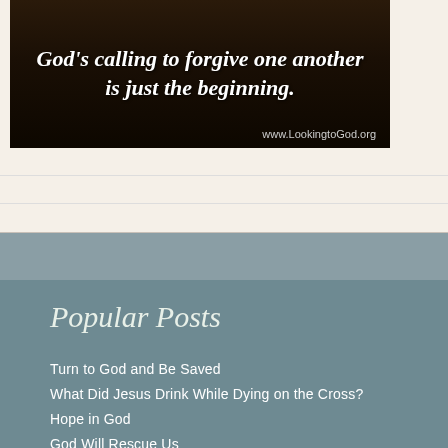[Figure (illustration): Dark gradient background image with italic white text reading "God's calling to forgive one another is just the beginning." and website URL www.LookingtoGod.org in bottom right]
Popular Posts
Turn to God and Be Saved
What Did Jesus Drink While Dying on the Cross?
Hope in God
God Will Rescue Us
Believe in God's Promises
Our Hope Is in God
Worship God Alone